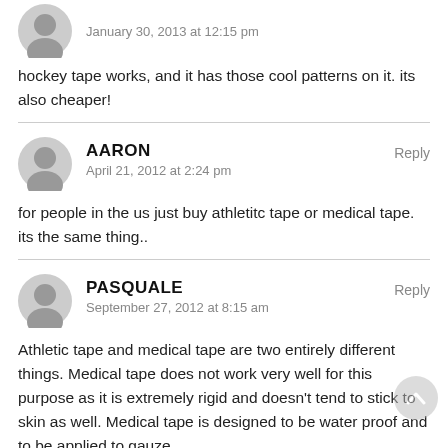[Figure (illustration): Generic user avatar icon (gray silhouette)]
January 30, 2013 at 12:15 pm
hockey tape works, and it has those cool patterns on it. its also cheaper!
[Figure (illustration): Generic user avatar icon (gray silhouette)]
AARON
Reply
April 21, 2012 at 2:24 pm
for people in the us just buy athletitc tape or medical tape. its the same thing..
[Figure (illustration): Generic user avatar icon (gray silhouette)]
PASQUALE
Reply
September 27, 2012 at 8:15 am
Athletic tape and medical tape are two entirely different things. Medical tape does not work very well for this purpose as it is extremely rigid and doesn't tend to stick to skin as well. Medical tape is designed to be water proof and to be applied to gauze,